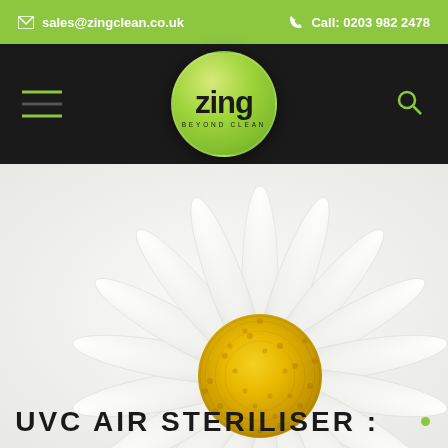✉ sales@zingclean.co.uk   ☎ Call: 0203 982 2478
[Figure (logo): Zing Beyond Clean logo — round green badge with 'zing' in bold dark text and 'BEYOND CLEAN' tagline below, on a black navigation bar with hamburger menu on left and search icon on right]
[Figure (photo): Close-up macro photo of a white daisy flower with yellow centre, filling the hero area of the webpage]
UVC AIR STERILISER :